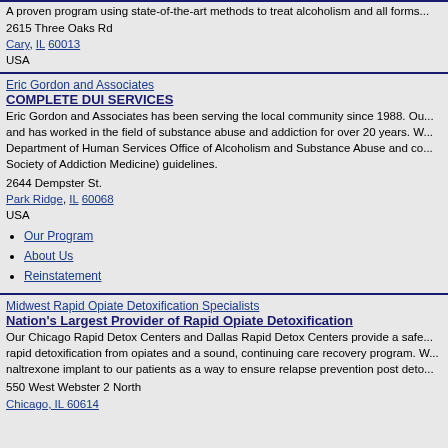A proven program using state-of-the-art methods to treat alcoholism and all forms...
2615 Three Oaks Rd
Cary, IL 60013
USA
Eric Gordon and Associates
COMPLETE DUI SERVICES
Eric Gordon and Associates has been serving the local community since 1988. Our... and has worked in the field of substance abuse and addiction for over 20 years. W... Department of Human Services Office of Alcoholism and Substance Abuse and co... Society of Addiction Medicine) guidelines.
2644 Dempster St.
Park Ridge, IL 60068
USA
Our Program
About Us
Reinstatement
Midwest Rapid Opiate Detoxification Specialists
Nation's Largest Provider of Rapid Opiate Detoxification
Our Chicago Rapid Detox Centers and Dallas Rapid Detox Centers provide a safe... rapid detoxification from opiates and a sound, continuing care recovery program. W... naltrexone implant to our patients as a way to ensure relapse prevention post deto...
550 West Webster 2 North
Chicago, IL 60614